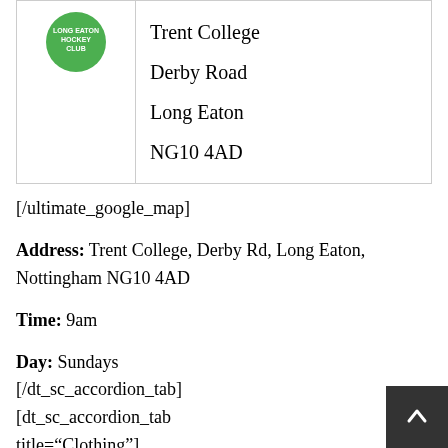| [logo] | Trent College
Derby Road
Long Eaton
NG10 4AD |
[/ultimate_google_map]
Address: Trent College, Derby Rd, Long Eaton, Nottingham NG10 4AD
Time: 9am
Day: Sundays
[/dt_sc_accordion_tab]
[dt_sc_accordion_tab title="Clothing"]
You can wear whatever makes your son / daughter feel comfortable. To